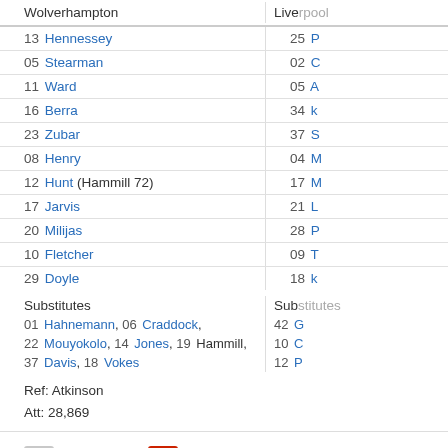| Wolverhampton | Live... |
| --- | --- |
| 13 Hennessey | 25 ... |
| 05 Stearman | 02 ... |
| 11 Ward | 05 ... |
| 16 Berra | 34 k... |
| 23 Zubar | 37 S... |
| 08 Henry | 04 M... |
| 12 Hunt (Hammill 72) | 17 M... |
| 17 Jarvis | 21 L... |
| 20 Milijas | 28 P... |
| 10 Fletcher | 09 T... |
| 29 Doyle | 18 k... |
Substitutes / Sub...
01 Hahnemann, 06 Craddock, / 42 G...
22 Mouyokolo, 14 Jones, 19 Hammill, / 10 C...
37 Davis, 18 Vokes / 12 P...
Ref: Atkinson
Att: 28,869
[Figure (infographic): Legend showing WOLVES (gray box) and LIVERPOOL (red box) team colors]
Possession
[Figure (bar-chart): Possession]